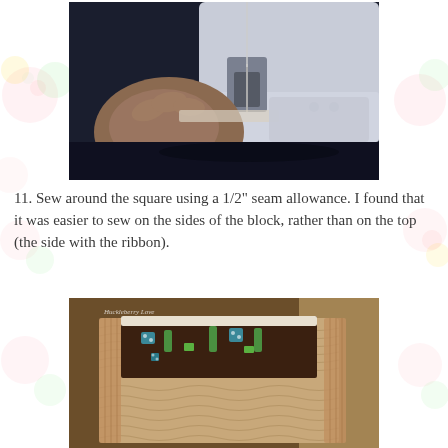[Figure (photo): Close-up photograph of a person's hand guiding fabric under a sewing machine needle, with the white sewing machine body visible in the background.]
11. Sew around the square using a 1/2" seam allowance. I found that it was easier to sew on the sides of the block, rather than on the top (the side with the ribbon).
[Figure (photo): Photograph of a fabric-covered box or block being held up, showing the inside of the box with colorful ribbon pieces and corrugated cardboard walls visible. The box is covered in a tan/beige wavy-textured fabric on the outside, with small green, teal/blue polka-dot ribbons visible inside.]